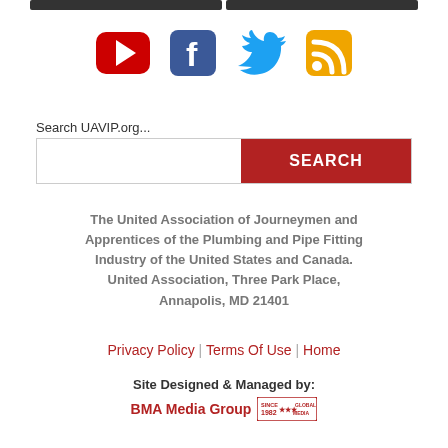[Figure (other): Social media icons: YouTube (red), Facebook (blue), Twitter (cyan), RSS (orange)]
Search UAVIP.org...
[Figure (other): Search bar with red SEARCH button]
The United Association of Journeymen and Apprentices of the Plumbing and Pipe Fitting Industry of the United States and Canada. United Association, Three Park Place, Annapolis, MD 21401
Privacy Policy | Terms Of Use | Home
Site Designed & Managed by:
BMA Media Group [logo stamp]